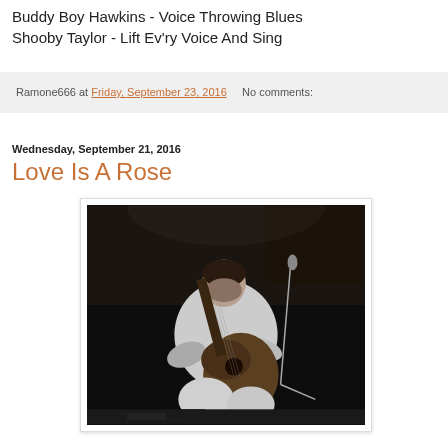Buddy Boy Hawkins - Voice Throwing Blues
Shooby Taylor - Lift Ev'ry Voice And Sing
Ramone666 at Friday, September 23, 2016    No comments:
Wednesday, September 21, 2016
Love Is A Rose
[Figure (photo): Black and white photograph of a person playing acoustic guitar on stage, leaning forward with head down, microphone visible in background]